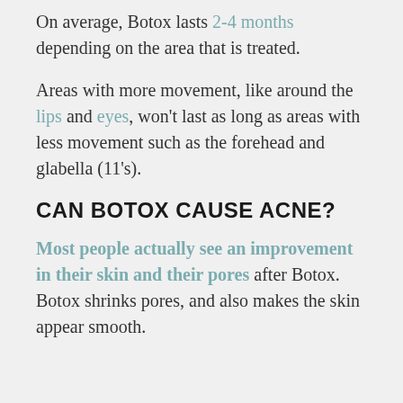On average, Botox lasts 2-4 months depending on the area that is treated.
Areas with more movement, like around the lips and eyes, won't last as long as areas with less movement such as the forehead and glabella (11's).
CAN BOTOX CAUSE ACNE?
Most people actually see an improvement in their skin and their pores after Botox. Botox shrinks pores, and also makes the skin appear smooth.